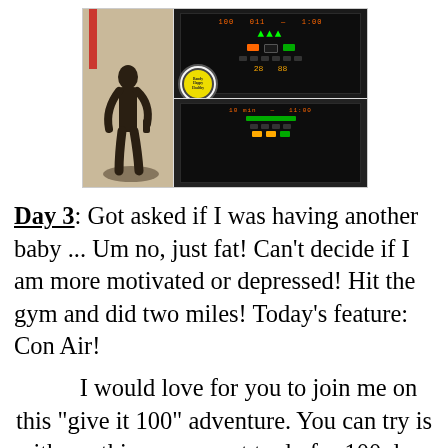[Figure (photo): A collage of three gym photos: left shows a shadow silhouette of a person on a gym floor, center shows a treadmill/elliptical machine display screen with orange and green numbers, right shows another cardio machine display screen. A small circular logo/badge is overlaid near the center.]
Day 3:  Got asked if I was having another baby ... Um no, just fat!  Can't decide if I am more motivated or depressed!  Hit the gym and did two miles! Today's feature: Con Air!
I would love for you to join me on this "give it 100" adventure.  You can try is with anything you want to do for 100 days